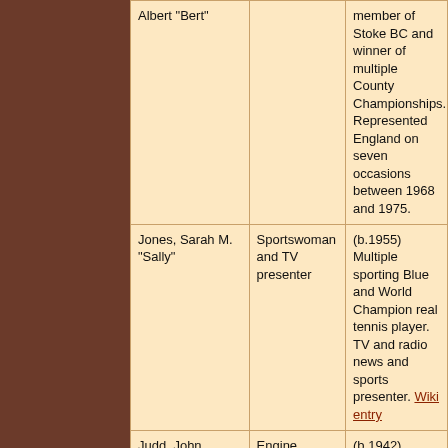| Name | Occupation/Role | Notes |
| --- | --- | --- |
| Albert "Bert" |  | member of Stoke BC and winner of multiple County Championships. Represented England on seven occasions between 1968 and 1975. |
| Jones, Sarah M. "Sally" | Sportswoman and TV presenter | (b.1955) Multiple sporting Blue and World Champion real tennis player. TV and radio news and sports presenter. Wiki entry |
| Judd, John | Engine designer | (b.1942) Formula One engineer. Wiki entry |
| Judd, Philip Edward "Phil" | England rugby international | (1934-2015) Coventry and Warwickshire prop forward who... |